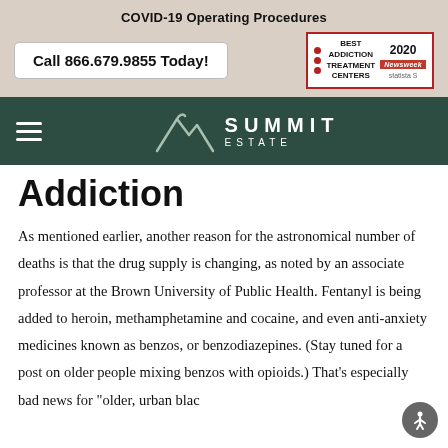COVID-19 Operating Procedures
Call 866.679.9855 Today!
[Figure (logo): Best Addiction Treatment Centers 2020 award badge by Newsweek and Statista]
[Figure (logo): Summit Estate logo with mountain icon and hamburger menu]
Addiction
As mentioned earlier, another reason for the astronomical number of deaths is that the drug supply is changing, as noted by an associate professor at the Brown University of Public Health. Fentanyl is being added to heroin, methamphetamine and cocaine, and even anti-anxiety medicines known as benzos, or benzodiazepines. (Stay tuned for a post on older people mixing benzos with opioids.) That’s especially bad news for “older, urban blac…